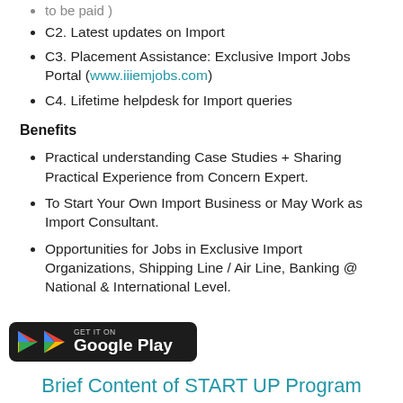to be paid )
C2. Latest updates on Import
C3. Placement Assistance: Exclusive Import Jobs Portal (www.iiiemjobs.com)
C4. Lifetime helpdesk for Import queries
Benefits
Practical understanding Case Studies + Sharing Practical Experience from Concern Expert.
To Start Your Own Import Business or May Work as Import Consultant.
Opportunities for Jobs in Exclusive Import Organizations, Shipping Line / Air Line, Banking @ National & International Level.
[Figure (logo): Google Play store badge: black rounded rectangle with GET IT ON text and Google Play logo]
Brief Content of START UP Program